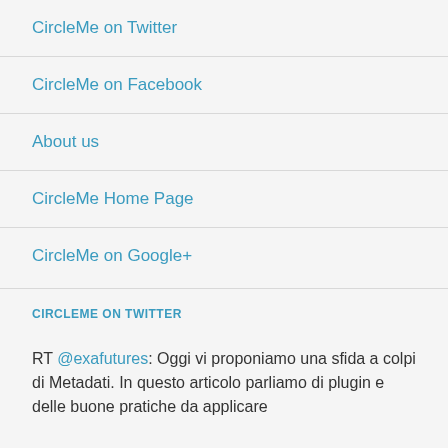CircleMe on Twitter
CircleMe on Facebook
About us
CircleMe Home Page
CircleMe on Google+
CIRCLEME ON TWITTER
RT @exafutures: Oggi vi proponiamo una sfida a colpi di Metadati. In questo articolo parliamo di plugin e delle buone pratiche da applicare